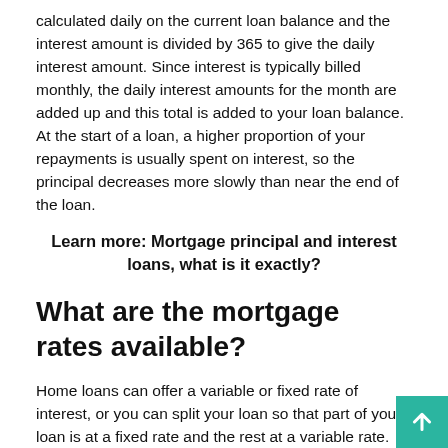calculated daily on the current loan balance and the interest amount is divided by 365 to give the daily interest amount. Since interest is typically billed monthly, the daily interest amounts for the month are added up and this total is added to your loan balance. At the start of a loan, a higher proportion of your repayments is usually spent on interest, so the principal decreases more slowly than near the end of the loan.
Learn more: Mortgage principal and interest loans, what is it exactly?
What are the mortgage rates available?
Home loans can offer a variable or fixed rate of interest, or you can split your loan so that part of your loan is at a fixed rate and the rest at a variable rate. With fixed rate home loans, your interest rate is locked in for a certain period (usually one to years). With variable rate home loans, your interest rate ca...